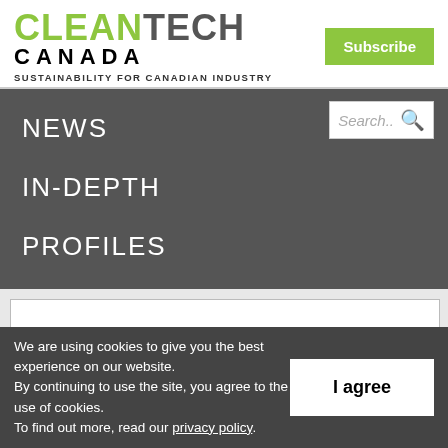[Figure (logo): CleanTech Canada logo with green CLEAN and grey TECH text, CANADA underneath, tagline SUSTAINABILITY FOR CANADIAN INDUSTRY]
Subscribe
NEWS   IN-DEPTH   PROFILES   Search..
We are using cookies to give you the best experience on our website. By continuing to use the site, you agree to the use of cookies. To find out more, read our privacy policy.
I agree